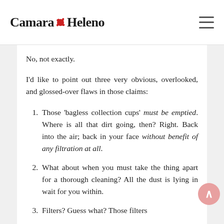Camara Heleno
No, not exactly.
I'd like to point out three very obvious, overlooked, and glossed-over flaws in those claims:
Those 'bagless collection cups' must be emptied. Where is all that dirt going, then? Right. Back into the air; back in your face without benefit of any filtration at all.
What about when you must take the thing apart for a thorough cleaning? All the dust is lying in wait for you within.
Filters? Guess what? Those filters